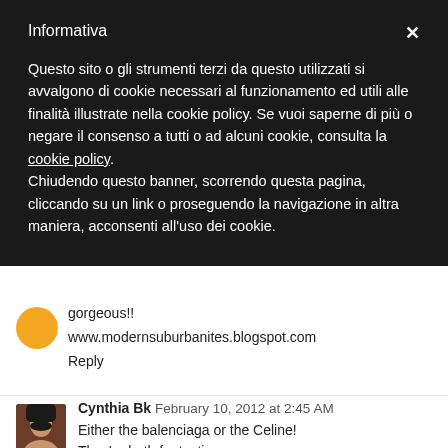Informativa
Questo sito o gli strumenti terzi da questo utilizzati si avvalgono di cookie necessari al funzionamento ed utili alle finalità illustrate nella cookie policy. Se vuoi saperne di più o negare il consenso a tutti o ad alcuni cookie, consulta la cookie policy.
Chiudendo questo banner, scorrendo questa pagina, cliccando su un link o proseguendo la navigazione in altra maniera, acconsenti all'uso dei cookie.
gorgeous!!
www.modernsuburbanites.blogspot.com
Reply
Cynthia Bk  February 10, 2012 at 2:45 AM
Either the balenciaga or the Celine!
They're both fantastic..